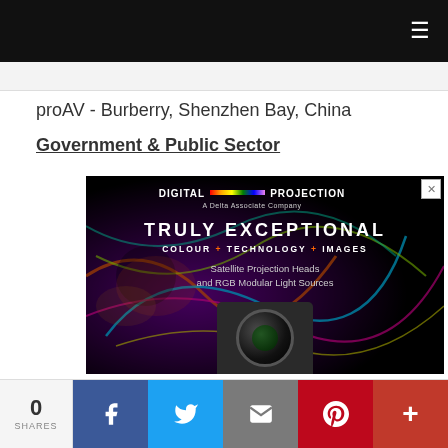proAV - Burberry, Shenzhen Bay, China
Government & Public Sector
[Figure (screenshot): Digital Projection advertisement — TRULY EXCEPTIONAL / COLOUR + TECHNOLOGY + IMAGES / Satellite Projection Heads and RGB Modular Light Sources, with camera image on colorful background]
0 SHARES | Facebook | Twitter | Email | Pinterest | More